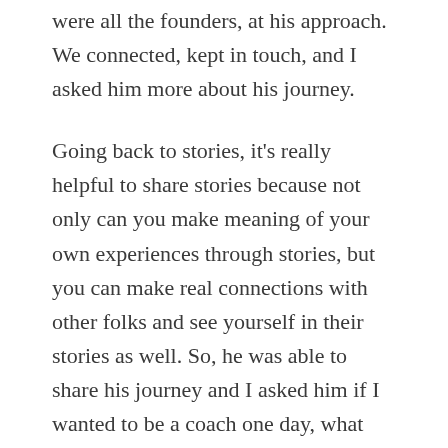were all the founders, at his approach. We connected, kept in touch, and I asked him more about his journey.
Going back to stories, it's really helpful to share stories because not only can you make meaning of your own experiences through stories, but you can make real connections with other folks and see yourself in their stories as well. So, he was able to share his journey and I asked him if I wanted to be a coach one day, what would that look like and what he would recommend. He said that I had a really good vantage point because I was working with all these companies already. The best way to do it is to really start